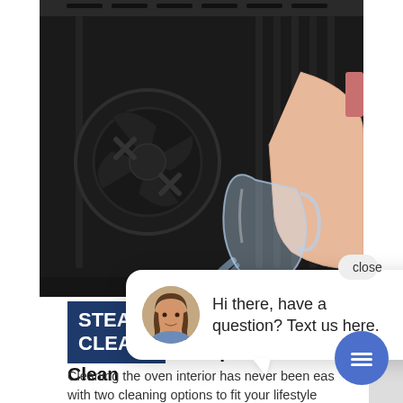[Figure (photo): A hand pouring water from a glass pitcher into the interior of a black oven, showing the oven's dark interior walls and fan component. This illustrates the steam clean feature.]
[Figure (screenshot): A chat popup overlay with a female avatar and the text 'Hi there, have a question? Text us here.' with a close button and a blue circle chat button.]
Self-Clean with optional Steam Clean
Cleaning the oven interior has never been eas with two cleaning options to fit your lifestyle